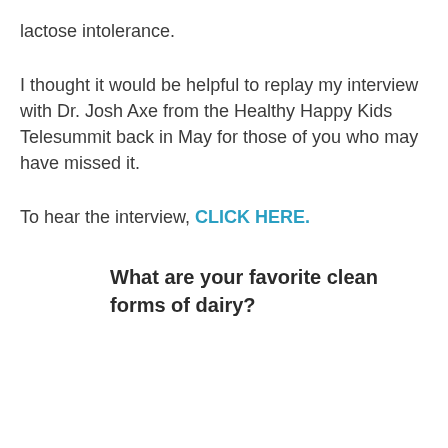lactose intolerance.
I thought it would be helpful to replay my interview with Dr. Josh Axe from the Healthy Happy Kids Telesummit back in May for those of you who may have missed it.
To hear the interview, CLICK HERE.
What are your favorite clean forms of dairy?